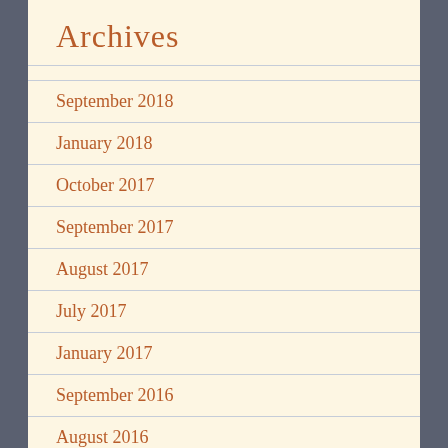Archives
September 2018
January 2018
October 2017
September 2017
August 2017
July 2017
January 2017
September 2016
August 2016
May 2016
December 2015